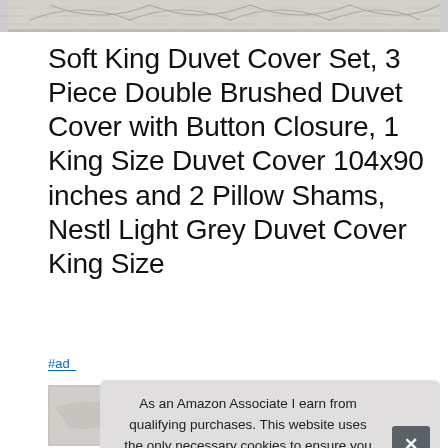[Figure (photo): Partial top view of a light grey patterned rug]
Soft King Duvet Cover Set, 3 Piece Double Brushed Duvet Cover with Button Closure, 1 King Size Duvet Cover 104x90 inches and 2 Pillow Shams, Nestl Light Grey Duvet Cover King Size
#ad
As an Amazon Associate I earn from qualifying purchases. This website uses the only necessary cookies to ensure you get the best experience on our website. More information
[Figure (photo): Bottom strip showing partial product images of bedding sets]